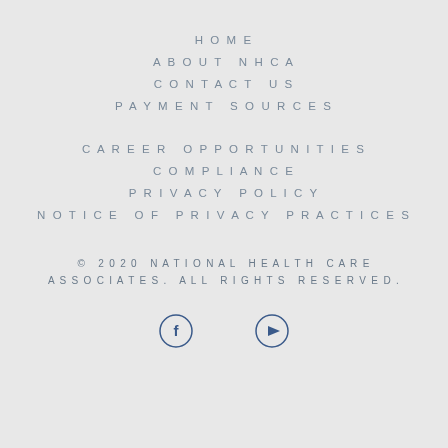HOME
ABOUT NHCA
CONTACT US
PAYMENT SOURCES
CAREER OPPORTUNITIES
COMPLIANCE
PRIVACY POLICY
NOTICE OF PRIVACY PRACTICES
© 2020 NATIONAL HEALTH CARE ASSOCIATES. ALL RIGHTS RESERVED.
[Figure (illustration): Facebook icon circle and YouTube icon circle social media buttons]